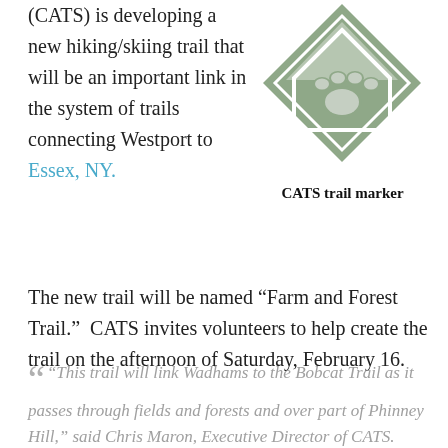(CATS) is developing a new hiking/skiing trail that will be an important link in the system of trails connecting Westport to Essex, NY. The new trail will be named “Farm and Forest Trail.”  CATS invites volunteers to help create the trail on the afternoon of Saturday, February 16.
[Figure (logo): CATS trail marker logo: a diamond shape in muted green with a house/arrow outline and a paw print in the center. Text 'TRAIL' appears at top left and top right of the diamond.]
CATS trail marker
“ “This trail will link Wadhams to the Bobcat Trail as it passes through fields and forests and over part of Phinney Hill,” said Chris Maron, Executive Director of CATS. “Our